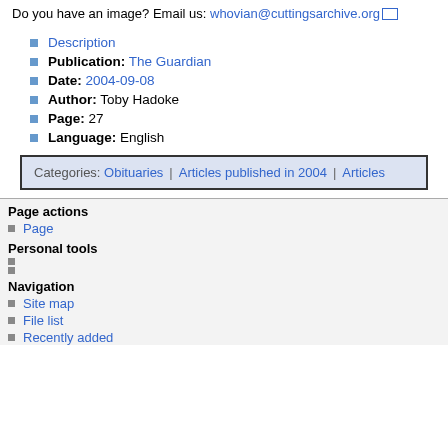Do you have an image? Email us: whovian@cuttingsarchive.org
Description
Publication: The Guardian
Date: 2004-09-08
Author: Toby Hadoke
Page: 27
Language: English
Categories: Obituaries | Articles published in 2004 | Articles
Page actions
Page
Personal tools
Navigation
Site map
File list
Recently added